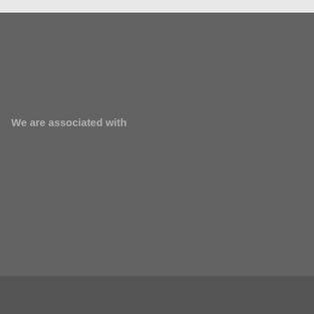We are associated with
Copyright © 2022 Quilfords. All Rights Reserved